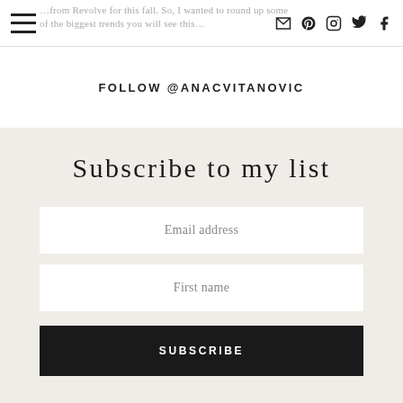…from Revolve for this fall. So, I wanted to round up some of the biggest trends you will see this…
FOLLOW @ANACVITANOVIC
Subscribe to my list
Email address
First name
SUBSCRIBE